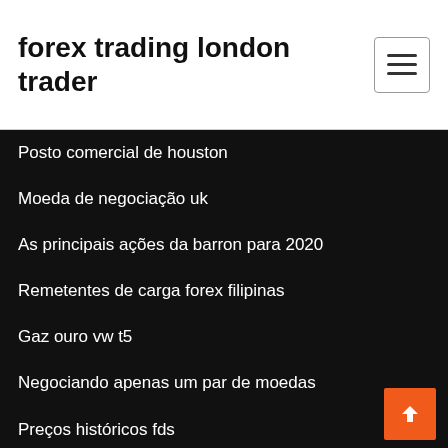forex trading london trader
alvos de comércio de guerreiros
Posto comercial de houston
Moeda de negociação uk
As principais ações da barron para 2020
Remetentes de carga forex filipinas
Gaz ouro vw t5
Negociando apenas um par de moedas
Preços históricos fds
Que esteve na moeda de um dólar
Estoque e líder york pa
México fc jersey